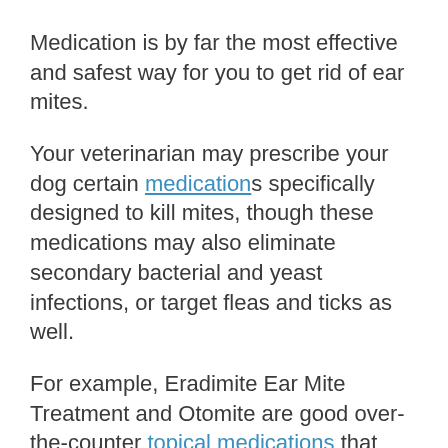Medication is by far the most effective and safest way for you to get rid of ear mites.
Your veterinarian may prescribe your dog certain medications specifically designed to kill mites, though these medications may also eliminate secondary bacterial and yeast infections, or target fleas and ticks as well.
For example, Eradimite Ear Mite Treatment and Otomite are good over-the-counter topical medications that solely treat ear mite infestations. Meanwhile, medications like Advantage Multi and Revolution can also treat heartworm, fleas, and some intestinal worms.